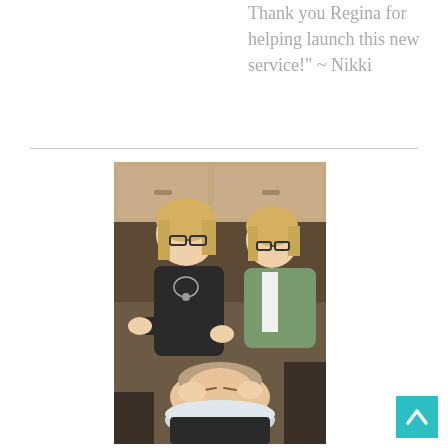Thank you Regina for helping launch this new service!" ~ Nikki
[Figure (photo): Two women standing behind a third woman who is reclining with her head over a salon shampoo bowl. The standing woman in black is washing the reclining woman's hair while another woman in a green jacket observes. They appear to be in a salon or cosmetology setting with wooden cabinets in the background.]
[Figure (other): Back to top button - teal/cyan square with white upward-pointing chevron arrow]